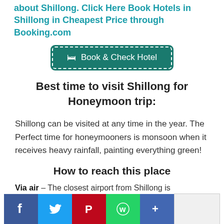about Shillong. Click Here Book Hotels in Shillong in Cheapest Price through Booking.com
[Figure (other): Green hotel booking button with bed icon reading 'Book & Check Hotel']
Best time to visit Shillong for Honeymoon trip:
Shillong can be visited at any time in the year. The Perfect time for honeymooners is monsoon when it receives heavy rainfall, painting everything green!
How to reach this place
Via air – The closest airport from Shillong is
[Figure (other): Social sharing icons bar: Facebook, Twitter, Pinterest, WhatsApp, More button, and share count box]